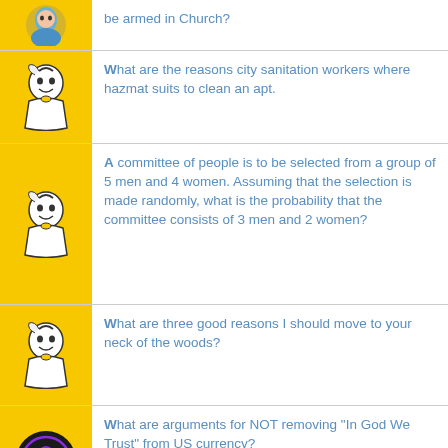be armed in Church?
What are the reasons city sanitation workers where hazmat suits to clean an apt.
A committee of people is to be selected from a group of 5 men and 4 women. Assuming that the selection is made randomly, what is the probability that the committee consists of 3 men and 2 women?
What are three good reasons I should move to your neck of the woods?
What are arguments for NOT removing "In God We Trust" from US currency?
ABOUT ANSWERBAG